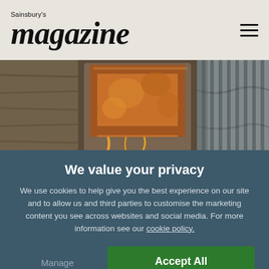Sainsbury's magazine
[Figure (photo): Food photography strip showing grilled cheese sandwiches on a wooden surface, center image showing close-up of toasted sandwich with melted cheese, right side showing striped cloth napkin]
We value your privacy
We use cookies to help give you the best experience on our site and to allow us and third parties to customise the marketing content you see across websites and social media. For more information see our cookie policy.
Manage Preferences
Accept All Cookies